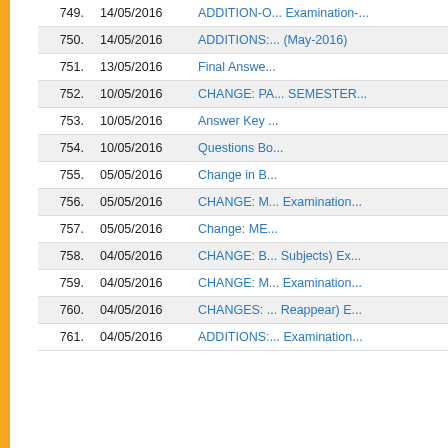| No. | Date | Title |
| --- | --- | --- |
| 749. | 14/05/2016 | ADDITION-O... Examination-... |
| 750. | 14/05/2016 | ADDITIONS:... (May-2016) |
| 751. | 13/05/2016 | Final Answe... |
| 752. | 10/05/2016 | CHANGE: PA... SEMESTER... |
| 753. | 10/05/2016 | Answer Key ... |
| 754. | 10/05/2016 | Questions B... |
| 755. | 05/05/2016 | Change in B... |
| 756. | 05/05/2016 | CHANGE: M... Examination... |
| 757. | 05/05/2016 | Change: ME... |
| 758. | 04/05/2016 | CHANGE: B... Subjects) Ex... |
| 759. | 04/05/2016 | CHANGE: M... Examination... |
| 760. | 04/05/2016 | CHANGES: ... Reappear) E... |
| 761. | 04/05/2016 | ADDITIONS:... Examination... |